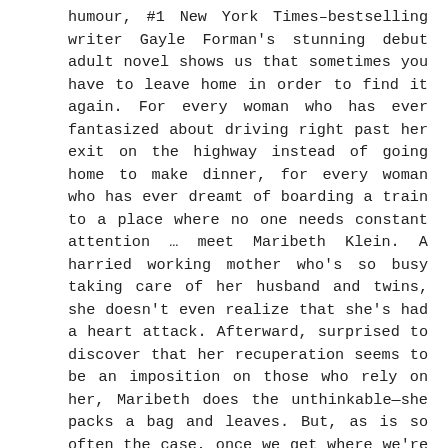humour, #1 New York Times–bestselling writer Gayle Forman's stunning debut adult novel shows us that sometimes you have to leave home in order to find it again. For every woman who has ever fantasized about driving right past her exit on the highway instead of going home to make dinner, for every woman who has ever dreamt of boarding a train to a place where no one needs constant attention … meet Maribeth Klein. A harried working mother who's so busy taking care of her husband and twins, she doesn't even realize that she's had a heart attack. Afterward, surprised to discover that her recuperation seems to be an imposition on those who rely on her, Maribeth does the unthinkable—she packs a bag and leaves. But, as is so often the case, once we get where we're going we see our lives from a different perspective. Far from the demands of family